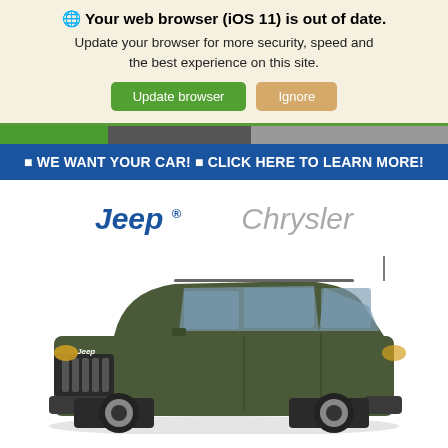🌐 Your web browser (iOS 11) is out of date. Update your browser for more security, speed and the best experience on this site.
Update browser | Ignore
🔴 WE WANT YOUR CAR! 🔴 CLICK HERE TO LEARN MORE!
Jeep ® Chrysler
[Figure (photo): Photo of a dark olive green Jeep Cherokee SUV, front three-quarter view, on a white background.]